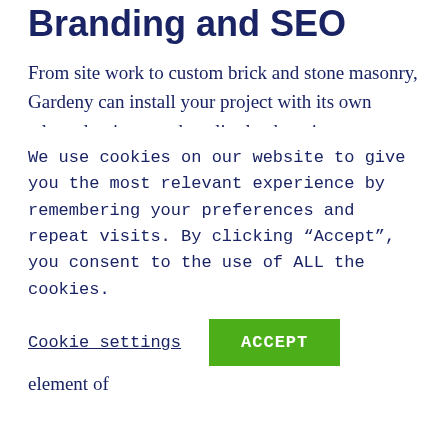Branding and SEO
From site work to custom brick and stone masonry, Gardeny can install your project with its own talented artisans and quality landscaping equipment. Using our extensive knowledge of soils, plants, landscape materials, and construction techniques, we are well qualified for any size project. We employ all our resources to achieve the best possible results, no matter the scale.
Our distinctive water features will introduce sound and motion into your landscape experience.The element of
We use cookies on our website to give you the most relevant experience by remembering your preferences and repeat visits. By clicking “Accept”, you consent to the use of ALL the cookies.
Cookie settings
ACCEPT